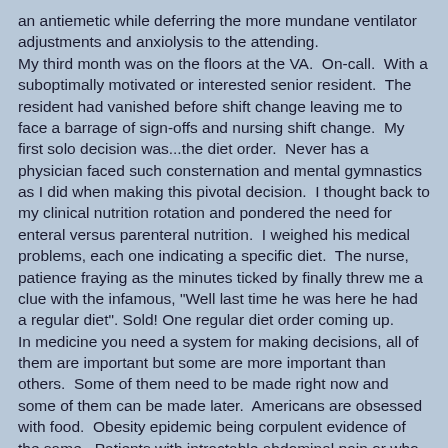an antiemetic while deferring the more mundane ventilator adjustments and anxiolysis to the attending. My third month was on the floors at the VA.  On-call.  With a suboptimally motivated or interested senior resident.  The resident had vanished before shift change leaving me to face a barrage of sign-offs and nursing shift change.  My first solo decision was...the diet order.  Never has a physician faced such consternation and mental gymnastics as I did when making this pivotal decision.  I thought back to my clinical nutrition rotation and pondered the need for enteral versus parenteral nutrition.  I weighed his medical problems, each one indicating a specific diet.  The nurse, patience fraying as the minutes ticked by finally threw me a clue with the infamous, "Well last time he was here he had a regular diet". Sold! One regular diet order coming up. In medicine you need a system for making decisions, all of them are important but some are more important than others.  Some of them need to be made right now and some of them can be made later.  Americans are obsessed with food.  Obesity epidemic being corpulent evidence of the same.  Patients with intractable abdominal pain or who have just been told that a myocardial infarction has destroyed the